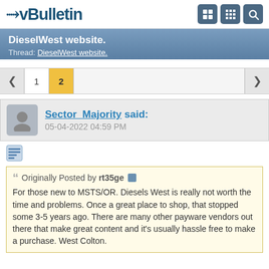vBulletin
DieselWest website.
Thread: DieselWest website.
Page navigation: 1 2
Sector_Majority said:
05-04-2022 04:59 PM
Originally Posted by rt35ge
For those new to MSTS/OR. Diesels West is really not worth the time and problems. Once a great place to shop, that stopped some 3-5 years ago. There are many other payware vendors out there that make great content and it's usually hassle free to make a purchase. West Colton.